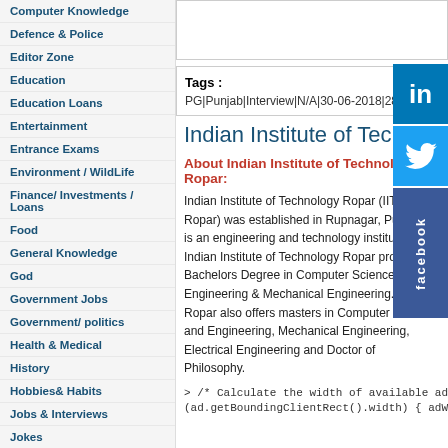Computer Knowledge
Defence & Police
Editor Zone
Education
Education Loans
Entertainment
Entrance Exams
Environment / WildLife
Finance/ Investments / Loans
Food
General Knowledge
God
Government Jobs
Government/ politics
Health & Medical
History
Hobbies& Habits
Jobs & Interviews
Jokes
Maths
National Symbols
Nature
Tags : PG|Punjab|Interview|N/A|30-06-2018|28|Govt|Indi
Indian Institute of Technology R
About Indian Institute of Technology Ropar:
Indian Institute of Technology Ropar (IIT Ropar) was established in Rupnagar, Punjab. It is an engineering and technology institute. Indian Institute of Technology Ropar provides Bachelors Degree in Computer Science, Civil Engineering & Mechanical Engineering. IIT Ropar also offers masters in Computer Science and Engineering, Mechanical Engineering, Electrical Engineering and Doctor of Philosophy.
> /* Calculate the width of available ad space */ ad = (ad.getBoundingClientRect().width) { adWidth = ad.g